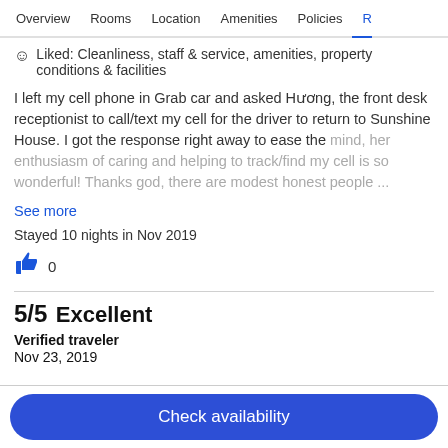Overview  Rooms  Location  Amenities  Policies  R
Liked: Cleanliness, staff & service, amenities, property conditions & facilities
I left my cell phone in Grab car and asked Hương, the front desk receptionist to call/text my cell for the driver to return to Sunshine House. I got the response right away to ease the mind, her enthusiasm of caring and helping to track/find my cell is so wonderful! Thanks god, there are modest honest people ...
See more
Stayed 10 nights in Nov 2019
👍 0
5/5 Excellent
Verified traveler
Nov 23, 2019
Check availability